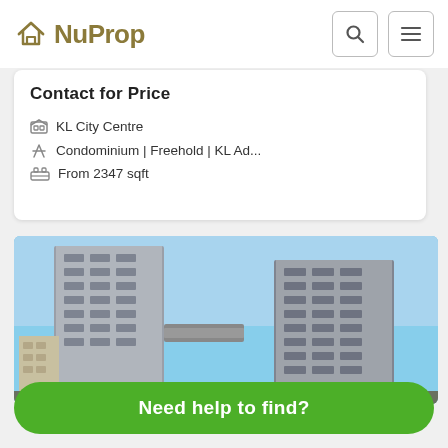NuProp
Contact for Price
KL City Centre
Condominium | Freehold | KL Ad...
From 2347 sqft
[Figure (photo): Exterior rendering of two tall modern residential condominium towers connected by a sky bridge, with a blue sky background]
Need help to find?